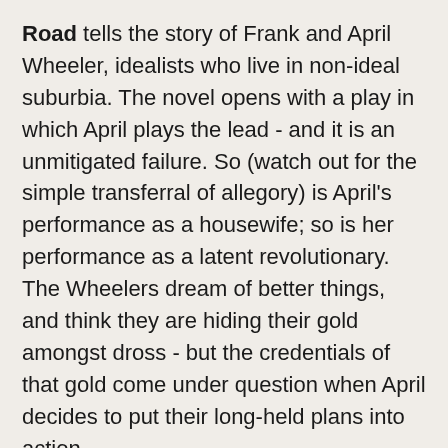Road tells the story of Frank and April Wheeler, idealists who live in non-ideal suburbia. The novel opens with a play in which April plays the lead - and it is an unmitigated failure. So (watch out for the simple transferral of allegory) is April's performance as a housewife; so is her performance as a latent revolutionary. The Wheelers dream of better things, and think they are hiding their gold amongst dross - but the credentials of that gold come under question when April decides to put their long-held plans into action.
Revolutionary Road is unmistakably American, and I don't know why. It's not just the "Geez, baby"s that crop up from time to time, but... well, I just don't know. The